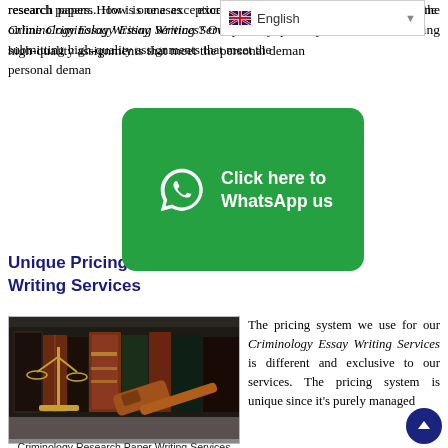research papers. How is one assured of exceptional assignments when they hire the online Criminology Essay Writing Services? Our primary feature is submitting high-quality assignments that meet the personal demands…
[Figure (other): English language selector bar with UK flag]
[Figure (other): Green WhatsApp button with phone icon and text 'Click here to WhatsApp us']
Unique Pricing of Our Assignment Writing Services
[Figure (photo): Photo of law books, justice scales, and a wooden gavel on a table]
Criminology Research Paper Writing Services
The pricing system we use for our Criminology Essay Writing Services is different and exclusive to our services. The pricing system is unique since it's purely managed